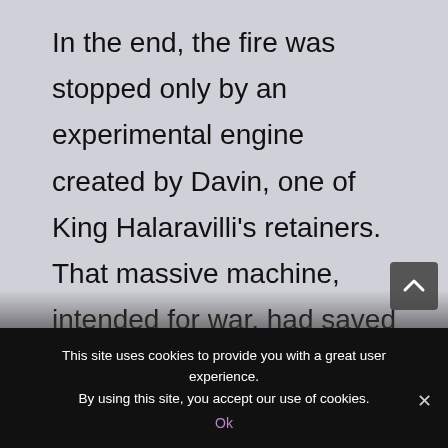In the end, the fire was stopped only by an experimental engine created by Davin, one of King Halaravilli's retainers. That massive machine, intended for war, had saved Morenian lives, bringing down rows and rows of buildings with explosive charges, collapsing wood and mud and wattle so the fire had nothing to consume, nowhere to go. Even Davin's creation might not have been sufficient, if not for a furious spring
This site uses cookies to provide you with a great user experience. By using this site, you accept our use of cookies. Ok